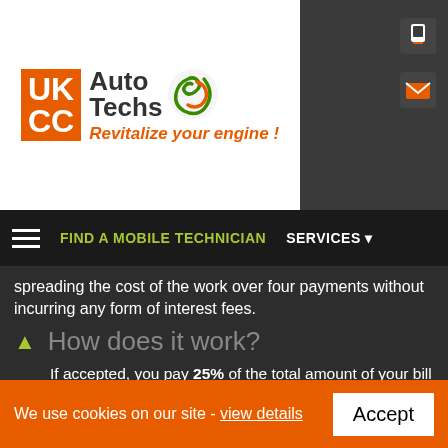[Figure (logo): UK CC Auto Techs logo with orange UKCC box, Auto Techs text, green swirl graphic, and tagline 'Revitalize your engine!']
FIND A MOBILE TECHNICIAN   SERVICES
spreading the cost of the work over four payments without incurring any form of interest fees.
How does it work?
If accepted, you pay 25% of the total amount of your bill immediately and the remaining balance is split over 3 equal monthly instalments thereafter.
eg. If you booked a Remap and Engine Carbon Clean service for £340.00 on January 10th your initial
We use cookies on our site - view details   Accept